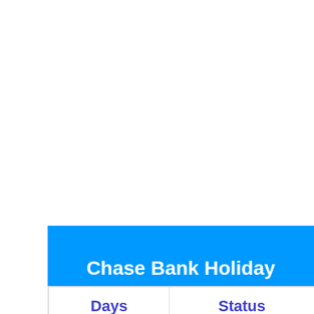Chase Bank Holiday Hours / Open
| Days | Status |
| --- | --- |